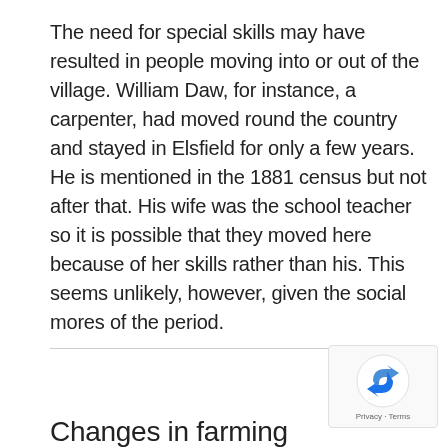The need for special skills may have resulted in people moving into or out of the village. William Daw, for instance, a carpenter, had moved round the country and stayed in Elsfield for only a few years. He is mentioned in the 1881 census but not after that. His wife was the school teacher so it is possible that they moved here because of her skills rather than his. This seems unlikely, however, given the social mores of the period.
Changes in farming